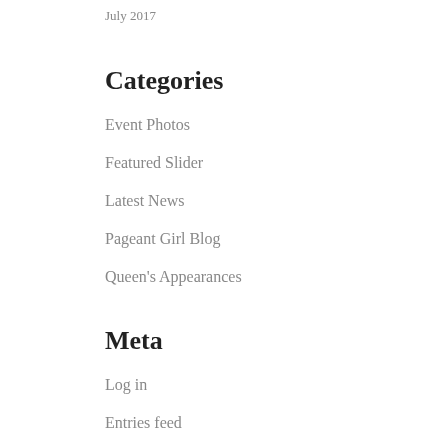July 2017
Categories
Event Photos
Featured Slider
Latest News
Pageant Girl Blog
Queen's Appearances
Meta
Log in
Entries feed
Comments feed
WordPress.org